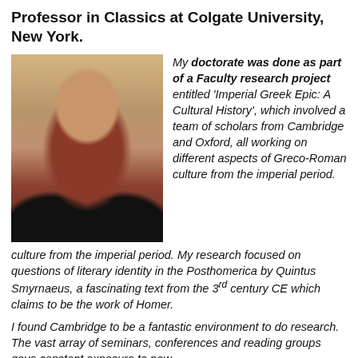Professor in Classics at Colgate University, New York.
[Figure (photo): Headshot of a young woman with long dark hair, smiling, wearing a red top, photographed indoors.]
My doctorate was done as part of a Faculty research project entitled 'Imperial Greek Epic: A Cultural History', which involved a team of scholars from Cambridge and Oxford, all working on different aspects of Greco-Roman culture from the imperial period. My research focused on questions of literary identity in the Posthomerica by Quintus Smyrnaeus, a fascinating text from the 3rd century CE which claims to be the work of Homer.
I found Cambridge to be a fantastic environment to do research. The vast array of seminars, conferences and reading groups gave constant exposure to new approaches and the cutting edge of debate in the humanities.